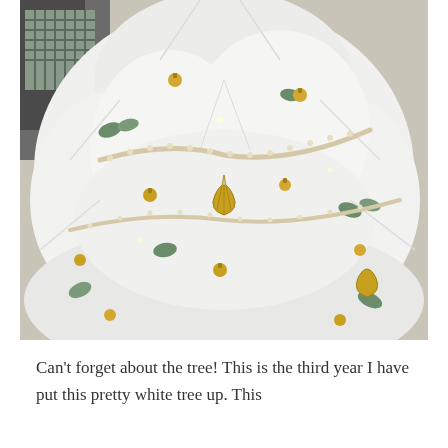[Figure (photo): Close-up photo of a white artificial Christmas tree decorated with gold ornament balls, pearl garland strands, gold shell/fan ornaments, and green eucalyptus sprigs. A plaid or striped cushion/couch is partially visible at the top left.]
Can't forget about the tree! This is the third year I have put this pretty white tree up. This